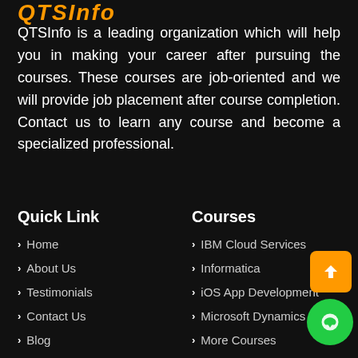QTSInfo
QTSInfo is a leading organization which will help you in making your career after pursuing the courses. These courses are job-oriented and we will provide job placement after course completion. Contact us to learn any course and become a specialized professional.
Quick Link
Courses
Home
IBM Cloud Services
About Us
Informatica
Testimonials
iOS App Development
Contact Us
Microsoft Dynamics CRM
Blog
More Courses